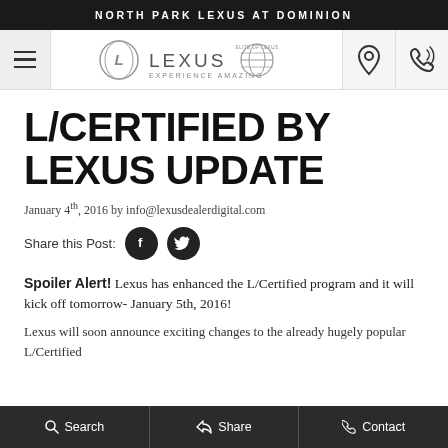NORTH PARK LEXUS AT DOMINION
[Figure (logo): Lexus logo with 'EXPERIENCE AMAZING' tagline and dealer badge, with hamburger menu, location pin icon, and phone icon in navigation bar]
L/CERTIFIED BY LEXUS UPDATE
January 4th, 2016 by info@lexusdealerdigital.com
Share this Post: [Facebook icon] [Twitter icon]
Spoiler Alert! Lexus has enhanced the L/Certified program and it will kick off tomorrow- January 5th, 2016!
Lexus will soon announce exciting changes to the already hugely popular L/Certified
Search   Share   Contact